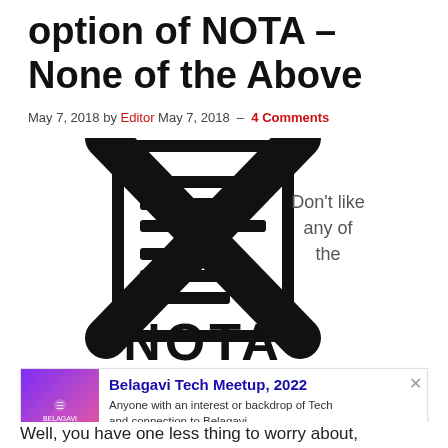option of NOTA – None of the Above
May 7, 2018 by Editor May 7, 2018 — 4 Comments
[Figure (illustration): NOTA symbol: ballot/list icon with a large X crossed over it, and the word NOTA in bold block letters below. To the right of the image is partial text 'Don't like any of the']
Belagavi Tech Meetup, 2022 — Anyone with an interest or backdrop of Tech and connection to Belagavi, — UXgrowth
Well, you have one less thing to worry about,